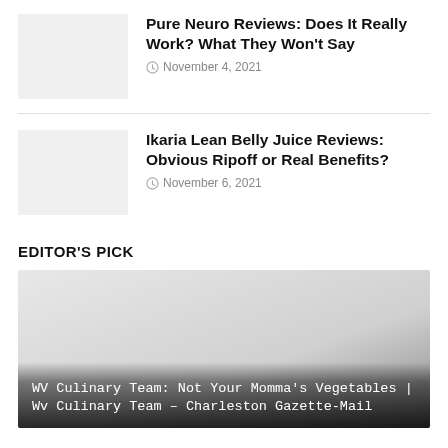[Figure (photo): Thumbnail image placeholder (light gray box) for Pure Neuro article]
Pure Neuro Reviews: Does It Really Work? What They Won't Say
November 4, 2021
[Figure (photo): Thumbnail image placeholder (light gray box) for Ikaria Lean Belly Juice article]
Ikaria Lean Belly Juice Reviews: Obvious Ripoff or Real Benefits?
November 6, 2021
EDITOR'S PICK
[Figure (photo): Large feature image with gradient overlay, light gray to darker gray background]
WV Culinary Team: Not Your Momma's Vegetables | Wv Culinary Team – Charleston Gazette-Mail